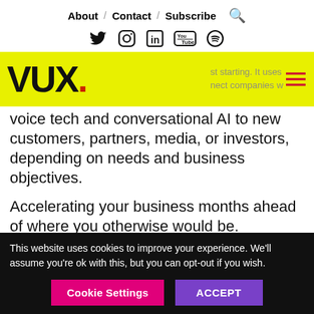About / Contact / Subscribe
[Figure (logo): VUX. logo on yellow background with hamburger menu]
just starting. It uses an extensive network to connect companies working with voice tech and conversational AI to new customers, partners, media, or investors, depending on needs and business objectives.
Accelerating your business months ahead of where you otherwise would be.
This website uses cookies to improve your experience. We'll assume you're ok with this, but you can opt-out if you wish.